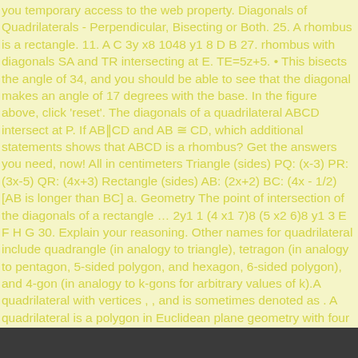you temporary access to the web property. Diagonals of Quadrilaterals - Perpendicular, Bisecting or Both. 25. A rhombus is a rectangle. 11. A C 3y x8 1048 y1 8 D B 27. rhombus with diagonals SA and TR intersecting at E. TE=5z+5. • This bisects the angle of 34, and you should be able to see that the diagonal makes an angle of 17 degrees with the base. In the figure above, click 'reset'. The diagonals of a quadrilateral ABCD intersect at P. If AB‖CD and AB ≅ CD, which additional statements shows that ABCD is a rhombus? Get the answers you need, now! All in centimeters Triangle (sides) PQ: (x-3) PR: (3x-5) QR: (4x+3) Rectangle (sides) AB: (2x+2) BC: (4x - 1/2) [AB is longer than BC] a. Geometry The point of intersection of the diagonals of a rectangle … 2y1 1 (4 x1 7)8 (5 x2 6)8 y1 3 E F H G 30. Explain your reasoning. Other names for quadrilateral include quadrangle (in analogy to triangle), tetragon (in analogy to pentagon, 5-sided polygon, and hexagon, 6-sided polygon), and 4-gon (in analogy to k-gons for arbitrary values of k).A quadrilateral with vertices , , and is sometimes denoted as . A quadrilateral is a polygon in Euclidean plane geometry with four edges (sides) and four vertices (corners). If ae =2x+6 and bd =6x-10 find ac . The diagonals bisect opposite angles. Your IP: 159.65.43.19 29. It … USING PROPERTIES Name each quadrilateral—parallelogram, rectangle, rhombus, and square—for which the statement is true. The diagonals of kite KITE intersect at point P. If m